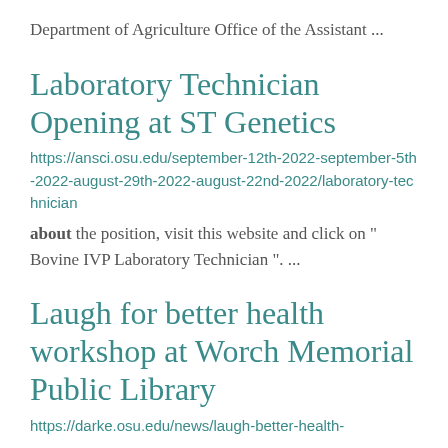Department of Agriculture Office of the Assistant ...
Laboratory Technician Opening at ST Genetics
https://ansci.osu.edu/september-12th-2022-september-5th-2022-august-29th-2022-august-22nd-2022/laboratory-technician
about the position, visit this website and click on " Bovine IVP Laboratory Technician ". ...
Laugh for better health workshop at Worch Memorial Public Library
https://darke.osu.edu/news/laugh-better-health-